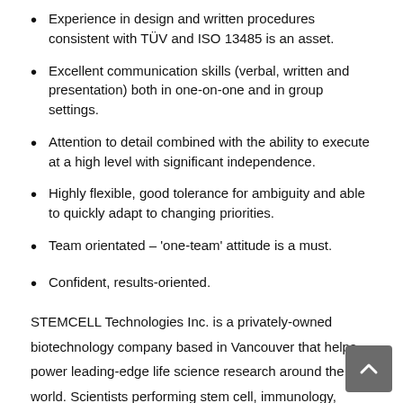Experience in design and written procedures consistent with TÜV and ISO 13485 is an asset.
Excellent communication skills (verbal, written and presentation) both in one-on-one and in group settings.
Attention to detail combined with the ability to execute at a high level with significant independence.
Highly flexible, good tolerance for ambiguity and able to quickly adapt to changing priorities.
Team orientated – 'one-team' attitude is a must.
Confident, results-oriented.
STEMCELL Technologies Inc. is a privately-owned biotechnology company based in Vancouver that helps power leading-edge life science research around the world. Scientists performing stem cell, immunology, cancer, regenerative medicine, and cellular therapy research are